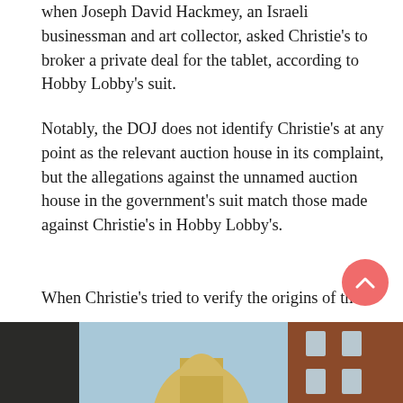when Joseph David Hackmey, an Israeli businessman and art collector, asked Christie's to broker a private deal for the tablet, according to Hobby Lobby's suit.
Notably, the DOJ does not identify Christie's at any point as the relevant auction house in its complaint, but the allegations against the unnamed auction house in the government's suit match those made against Christie's in Hobby Lobby's.
When Christie's tried to verify the origins of the tablet, the dealer who first bought the tablet in 2003 and allegedly cooked up its fake import story told Christie's that “the provenance was not verifiable and would not hold up to scrutiny in a public auction.”
But Hobby Lobby said in its lawsuit that Christie's advertised the tablet's origins as legitimate.
[Figure (photo): Bottom portion of a photograph showing buildings including what appears to be a domed structure against a blue sky, with a brick building on the right side.]